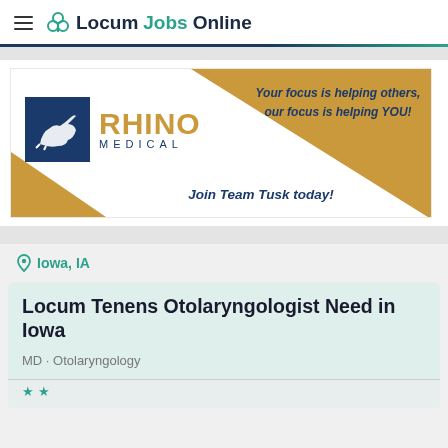LocumJobsOnline
[Figure (logo): Rhino Medical advertisement banner with logo and taglines: 'Your focus is helping others, our focus is helping YOU!' and 'Join Team Tusk today!']
Iowa, IA
Locum Tenens Otolaryngologist Need in Iowa
MD • Otolaryngology